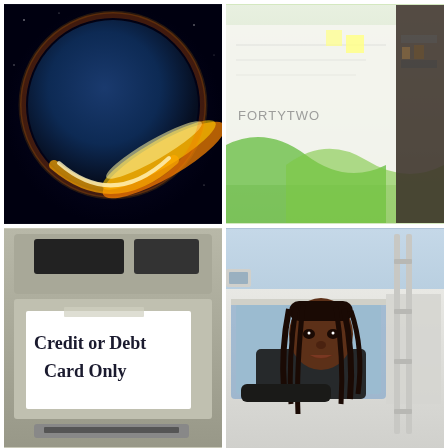[Figure (photo): Top-left: A dramatic space image showing Earth with a glowing ring of fire around it against a dark background]
[Figure (photo): Top-right: An office interior with a large whiteboard/mural on the wall with green designs and the word 'FORTYTWO']
[Figure (photo): Bottom-left: A close-up of a vending machine or kiosk with a handwritten sign reading 'Credit or Debt Card Only']
[Figure (photo): Bottom-right: A young Black woman with long braids leaning out of the window of a large white truck, looking at the camera]
TRANSLATE
Select Language
Powered by Google Translate